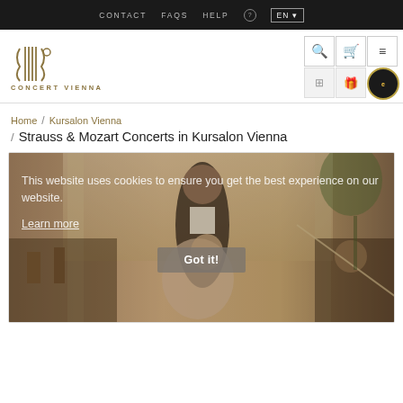CONTACT   FAQS   HELP   EN
[Figure (logo): Concert Vienna logo with stylized violin/bow graphic and text 'CONCERT VIENNA']
[Figure (screenshot): Website screenshot showing Concert Vienna page with cookie consent overlay over a photo of waltz dancers and orchestra at Kursalon Vienna]
Home / Kursalon Vienna / Strauss & Mozart Concerts in Kursalon Vienna
This website uses cookies to ensure you get the best experience on our website. Learn more
Got it!